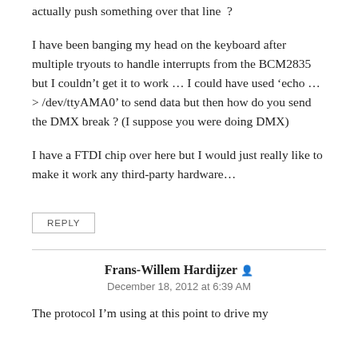actually push something over that line ?
I have been banging my head on the keyboard after multiple tryouts to handle interrupts from the BCM2835 but I couldn't get it to work … I could have used 'echo … > /dev/ttyAMA0' to send data but then how do you send the DMX break ? (I suppose you were doing DMX)
I have a FTDI chip over here but I would just really like to make it work any third-party hardware…
REPLY
Frans-Willem Hardijzer
December 18, 2012 at 6:39 AM
The protocol I'm using at this point to drive my